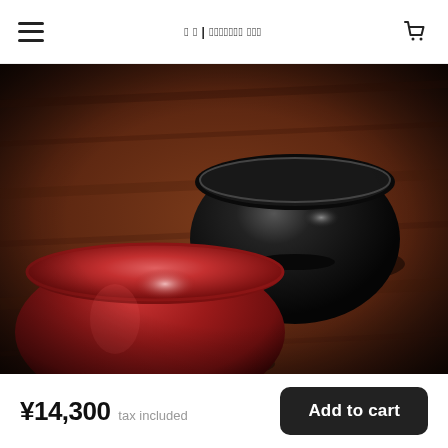≡  ☐ ☐ | ☐☐☐☐☐☐☐ ☐☐☐  🛒
[Figure (photo): Two lacquerware bowls on a dark wood surface — one black (upper right) and one red (lower left), both with a glossy, polished interior finish. The photo has warm, dark tones with shallow depth of field.]
¥14,300  tax included
Add to cart